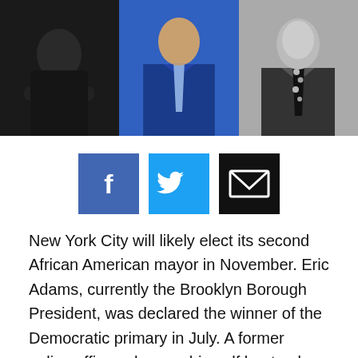[Figure (photo): Three-panel photo strip showing three individuals: left panel shows a woman in a black outfit with arms crossed against dark background, center panel shows a man in a blue suit with a blue tie, right panel shows a man in a black and white photo wearing a floral tie.]
[Figure (infographic): Social sharing buttons: Facebook (blue), Twitter (cyan), and Email (black) icon buttons]
New York City will likely elect its second African American mayor in November. Eric Adams, currently the Brooklyn Borough President, was declared the winner of the Democratic primary in July. A former police officer who was himself beaten by the cops as a teenager, Adams campaigned against police brutality while positioning himself as a law and order candidate. Though much of the mainstream media has attempted to simplify Adams' story, he's a complex candidate who isn't easily boxed in. What are the national implications of all this? In this episode, a co-production of The Laura Flanders